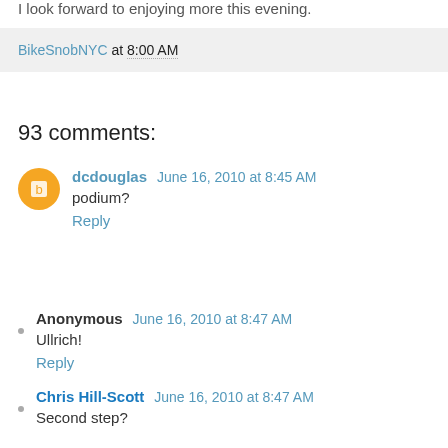I look forward to enjoying more this evening.
BikeSnobNYC at 8:00 AM
93 comments:
dcdouglas  June 16, 2010 at 8:45 AM
podium?
Reply
Anonymous  June 16, 2010 at 8:47 AM
Ullrich!
Reply
Chris Hill-Scott  June 16, 2010 at 8:47 AM
Second step?